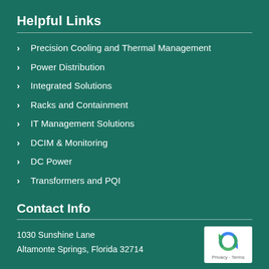Helpful Links
Precision Cooling and Thermal Management
Power Distribution
Integrated Solutions
Racks and Containment
IT Management Solutions
DCIM & Monitoring
DC Power
Transformers and PQI
Contact Info
1030 Sunshine Lane
Altamonte Springs, Florida 32714
[Figure (logo): reCAPTCHA badge with recycling-arrow logo and Privacy - Terms text]